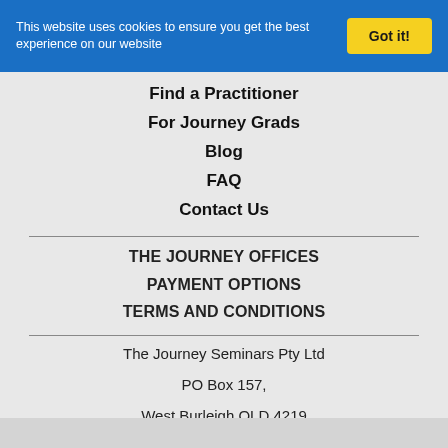This website uses cookies to ensure you get the best experience on our website
Got it!
Find a Practitioner
For Journey Grads
Blog
FAQ
Contact Us
THE JOURNEY OFFICES
PAYMENT OPTIONS
TERMS AND CONDITIONS
The Journey Seminars Pty Ltd
PO Box 157,
West Burleigh QLD 4219
+61 2 9294 8990
+61 1 300 843 568
info@thejourney.com
www.thejourneyna.com